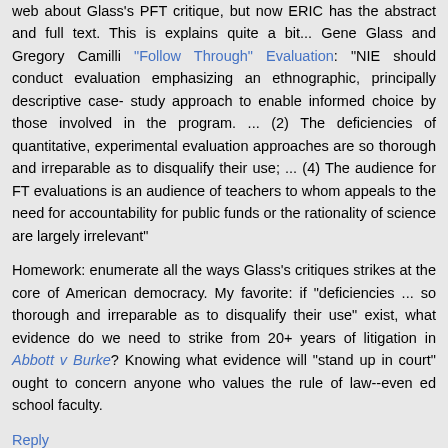web about Glass's PFT critique, but now ERIC has the abstract and full text. This is explains quite a bit... Gene Glass and Gregory Camilli "Follow Through" Evaluation: "NIE should conduct evaluation emphasizing an ethnographic, principally descriptive case- study approach to enable informed choice by those involved in the program. ... (2) The deficiencies of quantitative, experimental evaluation approaches are so thorough and irreparable as to disqualify their use; ... (4) The audience for FT evaluations is an audience of teachers to whom appeals to the need for accountability for public funds or the rationality of science are largely irrelevant"
Homework: enumerate all the ways Glass's critiques strikes at the core of American democracy. My favorite: if "deficiencies ... so thorough and irreparable as to disqualify their use" exist, what evidence do we need to strike from 20+ years of litigation in Abbott v Burke? Knowing what evidence will "stand up in court" ought to concern anyone who values the rule of law--even ed school faculty.
Reply